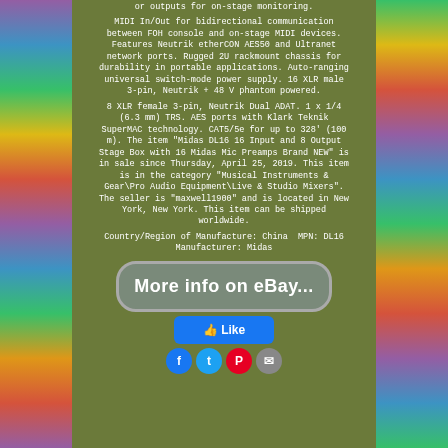or outputs for on-stage monitoring.
MIDI In/Out for bidirectional communication between FOH console and on-stage MIDI devices. Features Neutrik etherCON AES50 and Ultranet network ports. Rugged 2U rackmount chassis for durability in portable applications. Auto-ranging universal switch-mode power supply. 16 XLR male 3-pin, Neutrik + 48 V phantom powered.
8 XLR female 3-pin, Neutrik Dual ADAT. 1 x 1/4 (6.3 mm) TRS. AES ports with Klark Teknik SuperMAC technology. CAT5/5e for up to 328' (100 m). The item "Midas DL16 16 Input and 8 Output Stage Box with 16 Midas Mic Preamps Brand NEW" is in sale since Thursday, April 25, 2019. This item is in the category "Musical Instruments & Gear\Pro Audio Equipment\Live & Studio Mixers". The seller is "maxwell1900" and is located in New York, New York. This item can be shipped worldwide.
Country/Region of Manufacture: China MPN: DL16 Manufacturer: Midas
[Figure (other): eBay button with rounded rectangle border reading 'More info on eBay...']
[Figure (other): Facebook Like button]
[Figure (other): Social media sharing icons: Facebook, Twitter, Pinterest, Email]